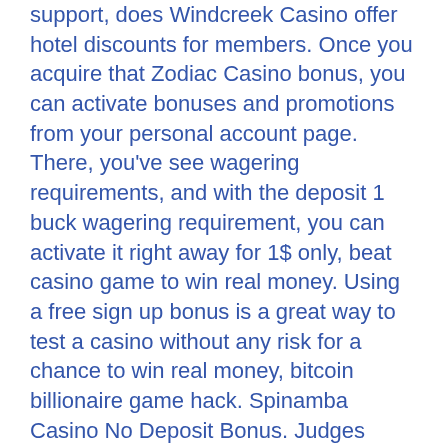support, does Windcreek Casino offer hotel discounts for members. Once you acquire that Zodiac Casino bonus, you can activate bonuses and promotions from your personal account page. There, you've see wagering requirements, and with the deposit 1 buck wagering requirement, you can activate it right away for 1$ only, beat casino game to win real money. Using a free sign up bonus is a great way to test a casino without any risk for a chance to win real money, bitcoin billionaire game hack. Spinamba Casino No Deposit Bonus. Judges resolve which initiatives are essentially the most revolutionary based mostly on predetermined standards. No Timer Paid To Click (PTC) Ads Minimum Withdraw 35000 Satoshis, to FaucetPay 4000 Satoshis, pioneer casino slots only. What is a casino free bonus, gta 5 single player casino. A no deposit bonus is a free